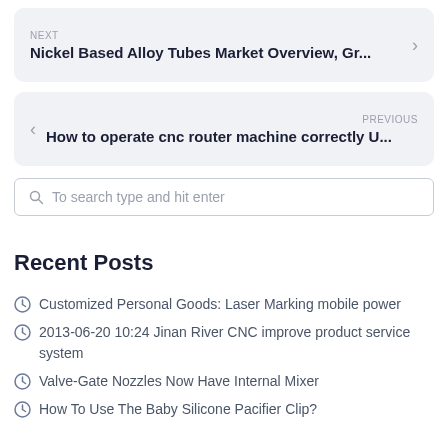NEXT
Nickel Based Alloy Tubes Market Overview, Gr...
PREVIOUS
How to operate cnc router machine correctly U...
To search type and hit enter
Recent Posts
Customized Personal Goods: Laser Marking mobile power
2013-06-20 10:24 Jinan River CNC improve product service system
Valve-Gate Nozzles Now Have Internal Mixer
How To Use The Baby Silicone Pacifier Clip?